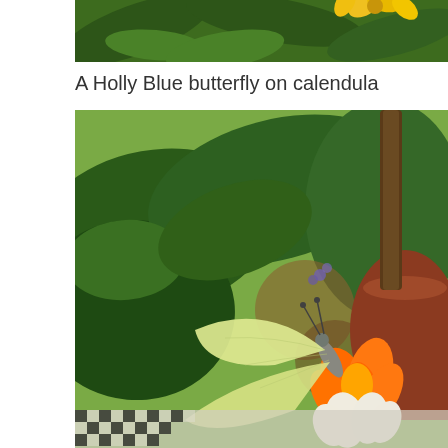[Figure (photo): Partial view of a yellow flower with green leaves background, cropped at top]
A Holly Blue butterfly on calendula
[Figure (photo): A pale yellow-green butterfly perched on an orange flower (calendula), with green leaves and a terracotta pot visible in the blurred background. A checkered fabric is visible at the bottom.]